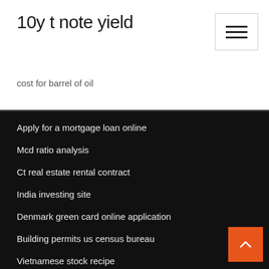10y t note yield
cost for barrel of oil
Apply for a mortgage loan online
Mcd ratio analysis
Ct real estate rental contract
India investing site
Denmark green card online application
Building permits us census bureau
Vietnamese stock recipe
What time stock market close on december 31 2020
Xoom exchange rate india forecast
Organizational chart drawing symbols